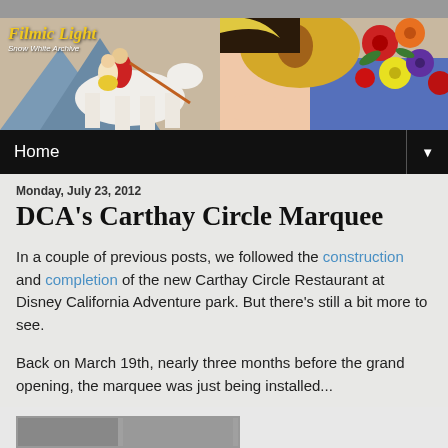Filmic Light
Snow White Archive
[Figure (illustration): Colorful illustrated banner showing Snow White being carried by the Prince on a white horse on the left, and a close-up of Snow White with colorful flowers on the right.]
Home
Monday, July 23, 2012
DCA's Carthay Circle Marquee
In a couple of previous posts, we followed the construction and completion of the new Carthay Circle Restaurant at Disney California Adventure park. But there's still a bit more to see.
Back on March 19th, nearly three months before the grand opening, the marquee was just being installed...
[Figure (photo): Partial thumbnail image at the bottom of the page, partially cut off.]